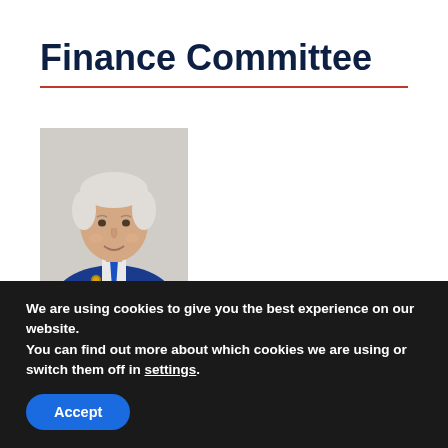Finance Committee
[Figure (photo): Portrait photo of Cllr. Nicholas Crossan, an older man with white hair, wearing a blue suit and tie, smiling.]
Cllr. Nicholas Crossan (AILG President)
DELEGATE
We are using cookies to give you the best experience on our website.
You can find out more about which cookies we are using or switch them off in settings.
Accept